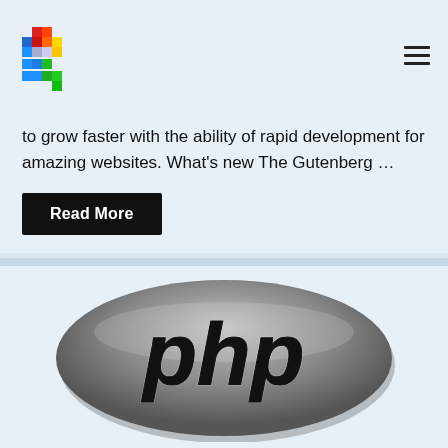[Figure (logo): Colorful pixel/mosaic style logo in top left corner]
to grow faster with the ability of rapid development for amazing websites. What's new The Gutenberg …
Read More
[Figure (logo): PHP logo — grey oval with black italic 'php' text in the center]
PHP 7.3 Top benefits Reason...